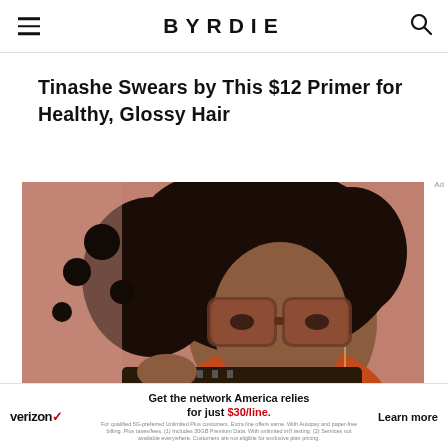BYRDIE
Tinashe Swears by This $12 Primer for Healthy, Glossy Hair
[Figure (photo): Close-up photo of a Black woman with voluminous dark curly hair, wearing large brown/tortoise shell oversized square sunglasses and an orange top, holding a guitar against a warm mauve/dusty rose background.]
Ad
verizon/ Get the network America relies for just $30/line. Learn more